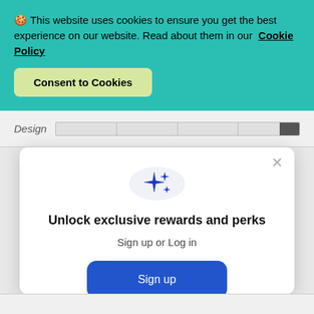🍪 This website uses cookies to ensure you get the best experience on our website. Read about them in our Cookie Policy
Consent to Cookies
Design
[Figure (screenshot): Modal popup with sparkles icon, title 'Unlock exclusive rewards and perks', subtitle 'Sign up or Log in', a blue Sign up button, and a 'Already have an account? Sign in' link]
Unlock exclusive rewards and perks
Sign up or Log in
Sign up
Already have an account? Sign in